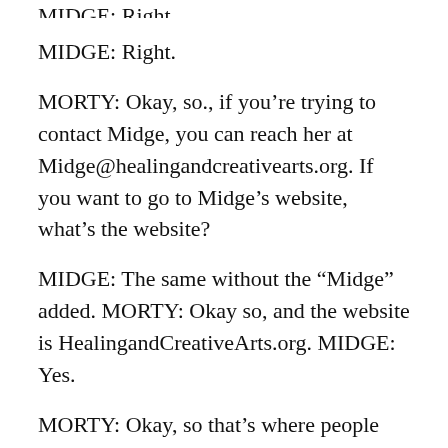MIDGE: Right.
MORTY: Okay, so., if you’re trying to contact Midge, you can reach her at Midge@healingandcreativearts.org. If you want to go to Midge’s website, what’s the website?
MIDGE: The same without the “Midge” added. MORTY: Okay so, and the website is HealingandCreativeArts.org. MIDGE: Yes.
MORTY: Okay, so that’s where people can get more details, more information, and more contact information. Okay.